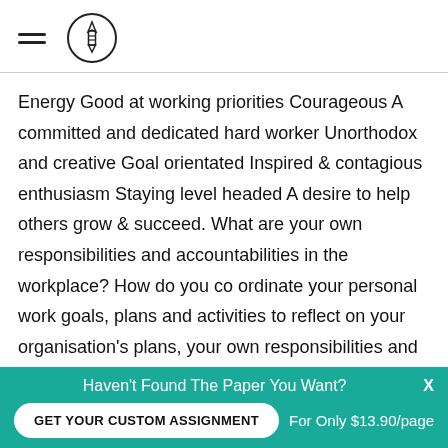[hamburger menu icon] [logo icon]
Energy Good at working priorities Courageous A committed and dedicated hard worker Unorthodox and creative Goal orientated Inspired & contagious enthusiasm Staying level headed A desire to help others grow & succeed. What are your own responsibilities and accountabilities in the workplace? How do you co ordinate your personal work goals, plans and activities to reflect on your organisation's plans, your own responsibilities and accountabilities?
Haven't Found The Paper You Want? GET YOUR CUSTOM ASSIGNMENT For Only $13.90/page X